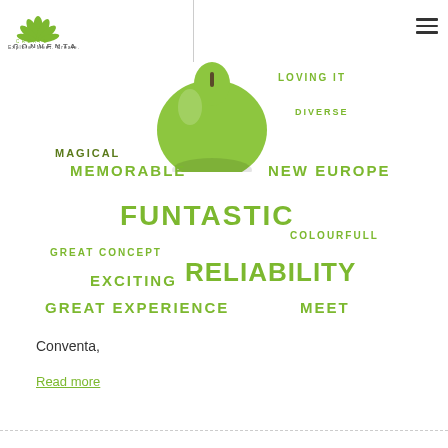[Figure (logo): Conventa logo with green leaf graphic, CREATE CONVENTA text, and tagline Explore. Meet. Create.]
[Figure (illustration): Word cloud with green text including FUNTASTIC, RELIABILITY, MEMORABLE, NEW EUROPE, EXCITING, GREAT EXPERIENCE, MEET, COLOURFULL, GREAT CONCEPT, LOVING IT, DIVERSE, and a green apple image in the upper center]
Conventa,
Read more